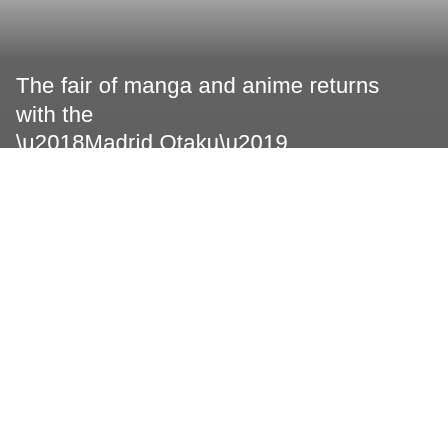The fair of manga and anime returns with the ‘Madrid Otaku’